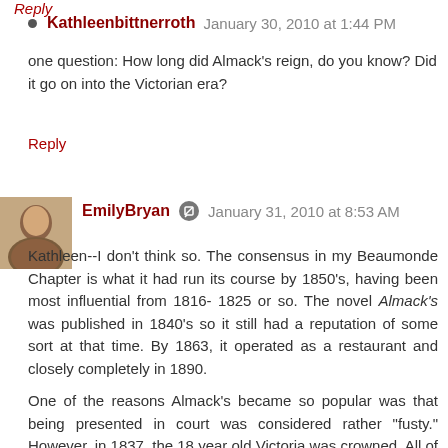Reply
Kathleenbittnerroth  January 30, 2010 at 1:44 PM
one question: How long did Almack's reign, do you know? Did it go on into the Victorian era?
Reply
EmilyBryan  January 31, 2010 at 8:53 AM
Kathleen--I don't think so. The consensus in my Beaumonde Chapter is what it had run its course by 1850's, having been most influential from 1816- 1825 or so. The novel Almack's was published in 1840's so it still had a reputation of some sort at that time. By 1863, it operated as a restaurant and closely completely in 1890.
One of the reasons Almack's became so popular was that being presented in court was considered rather "fusty." However, in 1837, the 18 year old Victoria was crowned. All of a sudden there was a vibrant young queen and the elite had a new venue in her court for enjoying their exclusivity.